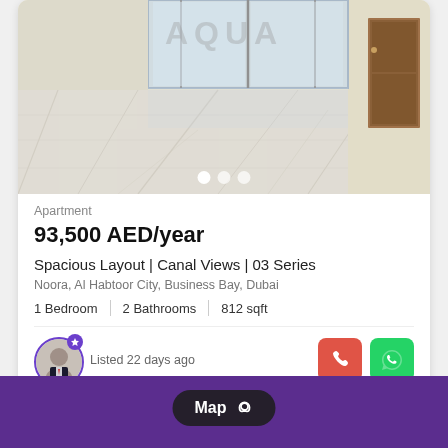[Figure (photo): Interior photo of an empty apartment with marble tile flooring, large glass sliding doors/windows letting in natural light, cream-colored walls, and a partial view of a wooden door to the right. AQUA watermark visible in the upper center.]
Apartment
93,500 AED/year
Spacious Layout | Canal Views | 03 Series
Noora, Al Habtoor City, Business Bay, Dubai
1 Bedroom  |  2 Bathrooms  |  812 sqft
Listed 22 days ago
[Figure (map): Map view panel with purple background and a pill-shaped dark button labeled 'Map' with a location pin icon]